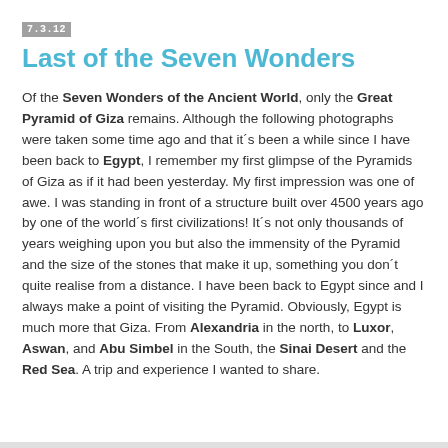7.3.12
Last of the Seven Wonders
Of the Seven Wonders of the Ancient World, only the Great Pyramid of Giza remains. Although the following photographs were taken some time ago and that it´s been a while since I have been back to Egypt, I remember my first glimpse of the Pyramids of Giza as if it had been yesterday. My first impression was one of awe. I was standing in front of a structure built over 4500 years ago by one of the world´s first civilizations! It´s not only thousands of years weighing upon you but also the immensity of the Pyramid and the size of the stones that make it up, something you don´t quite realise from a distance. I have been back to Egypt since and I always make a point of visiting the Pyramid. Obviously, Egypt is much more that Giza. From Alexandria in the north, to Luxor, Aswan, and Abu Simbel in the South, the Sinai Desert and the Red Sea. A trip and experience I wanted to share.